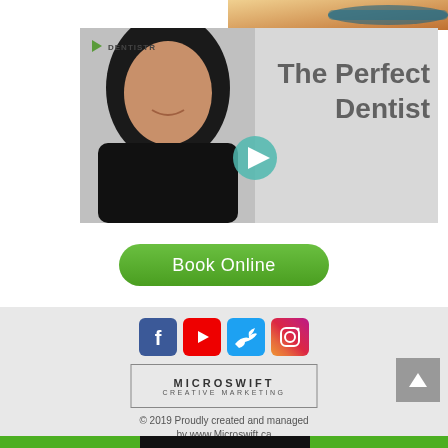[Figure (screenshot): Video thumbnail showing a woman in a dark jacket with text 'The Perfect Dentist' and a play button, with Dentistry logo in top-left corner]
[Figure (photo): Top right corner showing a toothbrush and toothpaste]
Book Online
[Figure (infographic): Social media icons row: Facebook, YouTube, Twitter, Instagram]
[Figure (logo): MICROSWIFT CREATIVE MARKETING logo in a rectangular border]
© 2019 Proudly created and managed by www.Microswift.ca